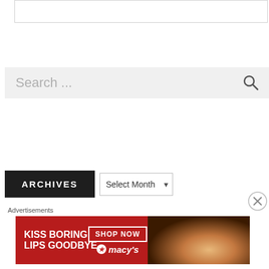[Figure (screenshot): White rectangular box with gray border at top]
[Figure (screenshot): Search bar with placeholder text 'Search ...' and magnifying glass icon on right]
[Figure (screenshot): Archives section with dark label and Select Month dropdown]
[Figure (screenshot): Popular on PCS dark header bar]
Advertisements
[Figure (screenshot): Macy's advertisement banner: KISS BORING LIPS GOODBYE with SHOP NOW button and macy's star logo, with close button]